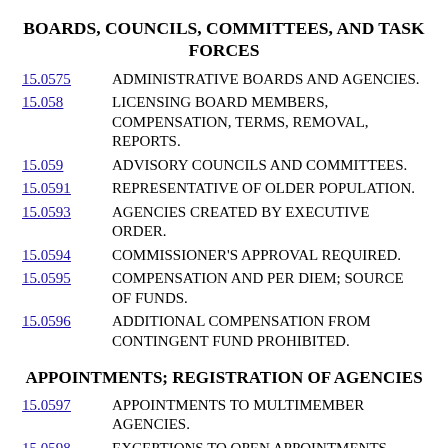BOARDS, COUNCILS, COMMITTEES, AND TASK FORCES
15.0575  ADMINISTRATIVE BOARDS AND AGENCIES.
15.058  LICENSING BOARD MEMBERS, COMPENSATION, TERMS, REMOVAL, REPORTS.
15.059  ADVISORY COUNCILS AND COMMITTEES.
15.0591  REPRESENTATIVE OF OLDER POPULATION.
15.0593  AGENCIES CREATED BY EXECUTIVE ORDER.
15.0594  COMMISSIONER'S APPROVAL REQUIRED.
15.0595  COMPENSATION AND PER DIEM; SOURCE OF FUNDS.
15.0596  ADDITIONAL COMPENSATION FROM CONTINGENT FUND PROHIBITED.
APPOINTMENTS; REGISTRATION OF AGENCIES
15.0597  APPOINTMENTS TO MULTIMEMBER AGENCIES.
15.0598  EXCEPTIONS TO OPEN APPOINTMENTS